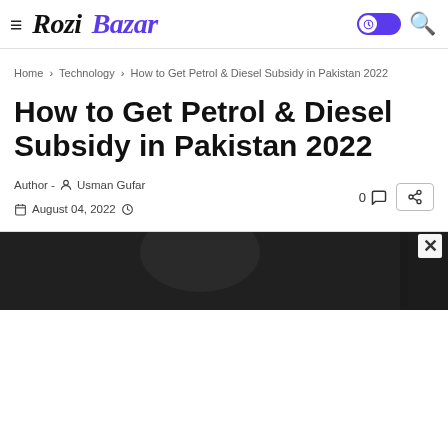Rozi Bazar
Home > Technology > How to Get Petrol & Diesel Subsidy in Pakistan 2022
How to Get Petrol & Diesel Subsidy in Pakistan 2022
Author - Usman Gufar  August 04, 2022
[Figure (photo): Dark image of article hero photo at the bottom of the page]